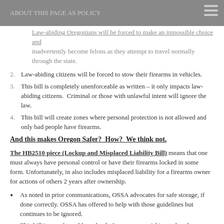ABOUT THIS PAGE AS POLICY
Law-abiding Oregonians will be forced to make an impossible choice and inadvertently become felons as they attempt to travel normally through the state.
Law-abiding citizens will be forced to stow their firearms in vehicles.
This bill is completely unenforceable as written – it only impacts law-abiding citizens.  Criminal or those with unlawful intent will ignore the law.
This bill will create zones where personal protection is not allowed and only bad people have firearms.
And this makes Oregon Safer?  How?  We think not.
The HB2510 piece (Lockup and Misplaced Liability Bill) means that one must always have personal control or have their firearms locked in some form. Unfortunately, in also includes misplaced liability for a firearms owner for actions of others 2 years after ownership.
As noted in prior communications, OSSA advocates for safe storage, if done correctly. OSSA has offered to help with those guidelines but continues to be ignored.
This bill is unenforceable and only focuses on punishing todays law-abiding citizens, not the criminal use of firearms.
This means you, law-abiding Oregonians, will be responsible for actions of criminals and unlawful acts of others.